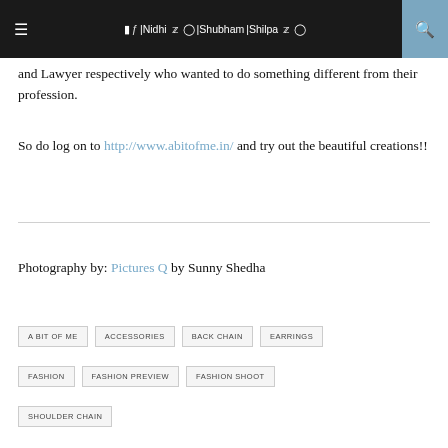≡  f |Nidhi  🐦  📷 |Shubham |Shilpa  🐦  📷   🔍
and Lawyer respectively who wanted to do something different from their profession.
So do log on to http://www.abitofme.in/ and try out the beautiful creations!!
Photography by: Pictures Q by Sunny Shedha
A BIT OF ME
ACCESSORIES
BACK CHAIN
EARRINGS
FASHION
FASHION PREVIEW
FASHION SHOOT
SHOULDER CHAIN